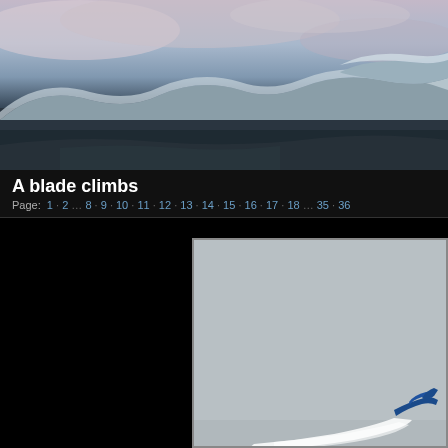[Figure (photo): Aerial/elevated panoramic photograph of a snowy landscape with rolling hills and countryside under a pale cloudy sky]
A blade climbs
Page: 1 · 2 … 8 · 9 · 10 · 11 · 12 · 13 · 14 · 15 · 16 · 17 · 18 … 35 · 36
[Figure (photo): Book or document page showing a grey background with a small blue airplane or aircraft visible in the lower-right corner with white smoke/trail]